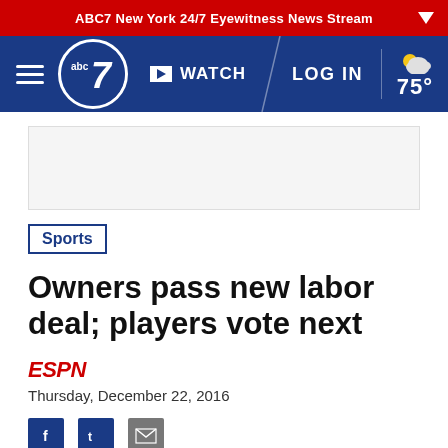ABC7 New York 24/7 Eyewitness News Stream
[Figure (logo): ABC7 navigation bar with hamburger menu, abc7 logo, WATCH button, LOG IN link, and 75° weather]
Sports
Owners pass new labor deal; players vote next
ESPN
Thursday, December 22, 2016